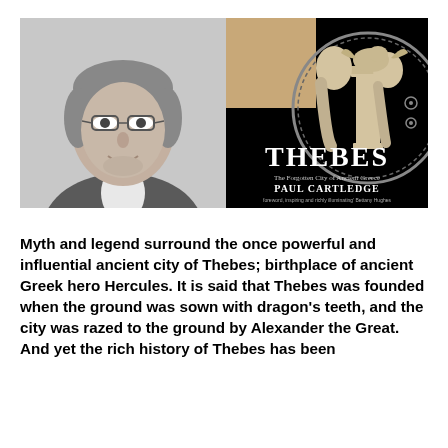[Figure (photo): Black and white portrait photo of Paul Cartledge, a middle-aged man with glasses, smiling, wearing a jacket]
[Figure (photo): Book cover of 'THEBES: The Forgotten City of Ancient Greece' by Paul Cartledge, black background with Greek pottery art showing figures and a sphinx on a column]
Myth and legend surround the once powerful and influential ancient city of Thebes; birthplace of ancient Greek hero Hercules. It is said that Thebes was founded when the ground was sown with dragon's teeth, and the city was razed to the ground by Alexander the Great. And yet the rich history of Thebes has been